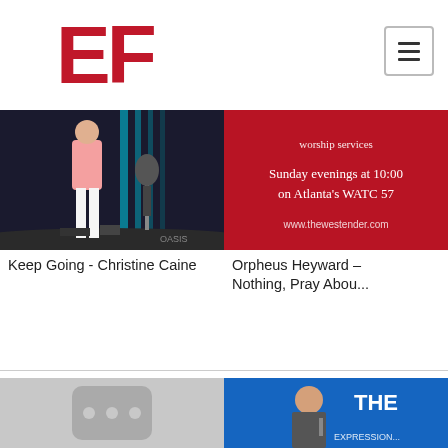[Figure (logo): EF logo in red block letters]
[Figure (other): Menu/hamburger button icon in top right]
[Figure (photo): Person on stage with guitar in background, Oasis watermark - Keep Going Christine Caine video thumbnail]
Keep Going - Christine Caine
[Figure (photo): Red background with text: worship services, Sunday evenings at 10:00 on Atlanta's WATC 57, www.thewestender.com - Orpheus Heyward video thumbnail]
Orpheus Heyward - Nothing, Pray Abou...
[Figure (photo): Gray YouTube-style placeholder thumbnail with three dots]
[Figure (photo): Man in suit speaking at podium with THE... and EXPRESSION... text overlay on blue background]